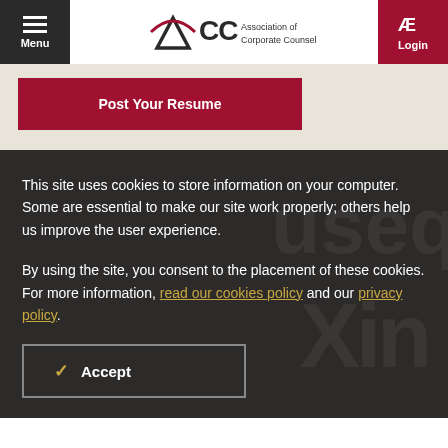Menu | ACC Association of Corporate Counsel | Login
Post Your Resume
This site uses cookies to store information on your computer. Some are essential to make our site work properly; others help us improve the user experience.
By using the site, you consent to the placement of these cookies. For more information, read our cookies policy and our privacy policy.
Accept